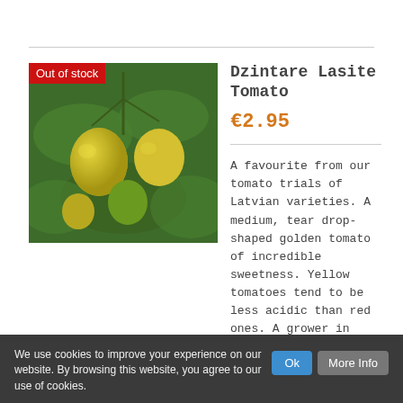[Figure (photo): Product image showing yellow/green tomatoes on a vine with green leaves, with a red 'Out of stock' badge overlaid at top-left]
Dzintare Lasite Tomato
€2.95
A favourite from our tomato trials of Latvian varieties. A medium, tear drop-shaped golden tomato of incredible sweetness. Yellow tomatoes tend to be less acidic than red ones. A grower in Meath goes on to say, "I grew Dzintare Lasite outside in a sheltered spot and they did very well, better than red ones". Certified
We use cookies to improve your experience on our website. By browsing this website, you agree to our use of cookies.